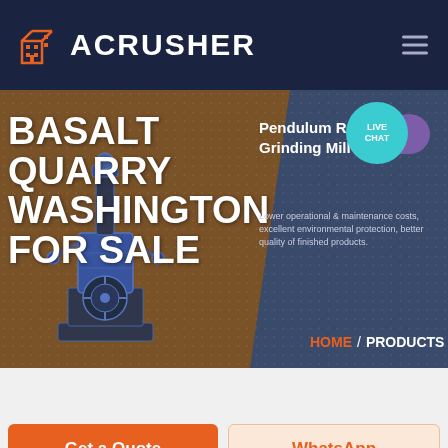[Figure (logo): ACRUSHER logo with orange building icon on dark navy header]
[Figure (screenshot): Hero banner showing 'BASALT QUARRY WASHINGTON FOR SALE' in white bold text over a brown/slate background with industrial crusher machine image. Right side shows 'Pendulum Roller Grinding Mill' product with description text. Live chat bubble in top right. Breadcrumb navigation: HOME / PRODUCTS at bottom.]
BASALT QUARRY WASHINGTON FOR SALE
Pendulum Roller Grinding Mill
Lower operational & maintenance costs, excellent environmental protection, better quality of finished products.
HOME / PRODUCTS
Get a Quote
WhatsApp